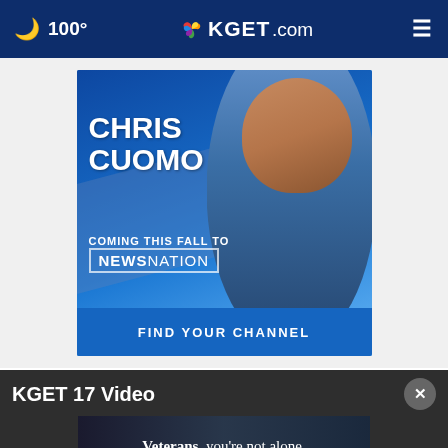🌙 100° | KGET.com
[Figure (photo): Advertisement banner for Chris Cuomo coming to NewsNation this fall, with text CHRIS CUOMO, COMING THIS FALL TO [NEWSNATION], FIND YOUR CHANNEL, on a blue background with a photo of Chris Cuomo smiling.]
KGET 17 Video
[Figure (screenshot): Video thumbnail showing text: Veterans, you're not alone.]